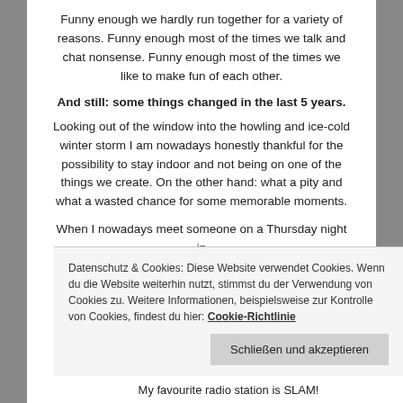Funny enough we hardly run together for a variety of reasons. Funny enough most of the times we talk and chat nonsense. Funny enough most of the times we like to make fun of each other.
And still: some things changed in the last 5 years.
Looking out of the window into the howling and ice-cold winter storm I am nowadays honestly thankful for the possibility to stay indoor and not being on one of the things we create. On the other hand: what a pity and what a wasted chance for some memorable moments.
When I nowadays meet someone on a Thursday night in
Datenschutz & Cookies: Diese Website verwendet Cookies. Wenn du die Website weiterhin nutzt, stimmst du der Verwendung von Cookies zu. Weitere Informationen, beispielsweise zur Kontrolle von Cookies, findest du hier: Cookie-Richtlinie
Schließen und akzeptieren
My favourite radio station is SLAM!